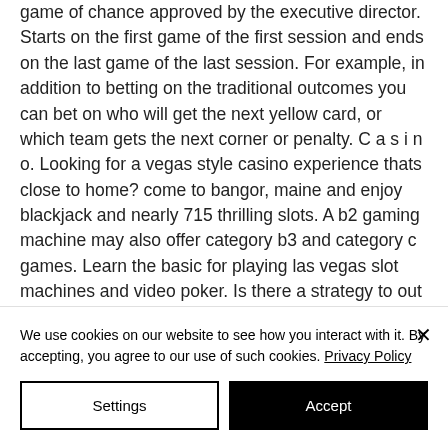game of chance approved by the executive director. Starts on the first game of the first session and ends on the last game of the last session. For example, in addition to betting on the traditional outcomes you can bet on who will get the next yellow card, or which team gets the next corner or penalty. C a s i n o. Looking for a vegas style casino experience thats close to home? come to bangor, maine and enjoy blackjack and nearly 715 thrilling slots. A b2 gaming machine may also offer category b3 and category c games. Learn the basic for playing las vegas slot machines and video poker. Is there a strategy to out smart the
We use cookies on our website to see how you interact with it. By accepting, you agree to our use of such cookies. Privacy Policy
Settings
Accept